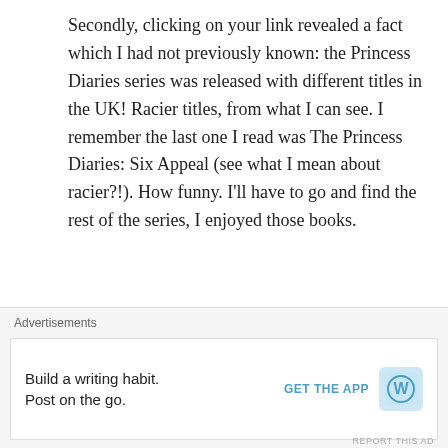Secondly, clicking on your link revealed a fact which I had not previously known: the Princess Diaries series was released with different titles in the UK! Racier titles, from what I can see. I remember the last one I read was The Princess Diaries: Six Appeal (see what I mean about racier?!). How funny. I'll have to go and find the rest of the series, I enjoyed those books.
★ Like
allvbatucan
Advertisements
Build a writing habit.
Post on the go.
GET THE APP
REPORT THIS AD